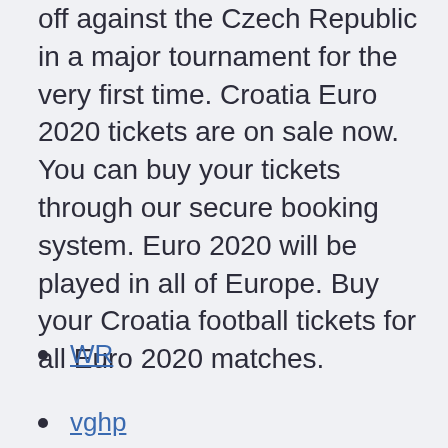off against the Czech Republic in a major tournament for the very first time. Croatia Euro 2020 tickets are on sale now. You can buy your tickets through our secure booking system. Euro 2020 will be played in all of Europe. Buy your Croatia football tickets for all Euro 2020 matches.
WR
vghp